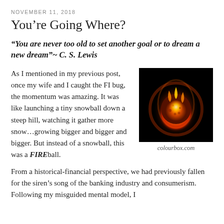NOVEMBER 11, 2018
You’re Going Where?
“You are never too old to set another goal or to dream a new dream”~ C. S. Lewis
As I mentioned in my previous post, once my wife and I caught the FI bug, the momentum was amazing. It was like launching a tiny snowball down a steep hill, watching it gather more snow…growing bigger and bigger and bigger. But instead of a snowball, this was a FIREball.
[Figure (photo): A glowing fireball with orange and red flames against a black background]
colourbox.com
From a historical-financial perspective, we had previously fallen for the siren’s song of the banking industry and consumerism. Following my misguided mental model, I